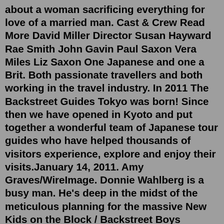about a woman sacrificing everything for love of a married man. Cast & Crew Read More David Miller Director Susan Hayward Rae Smith John Gavin Paul Saxon Vera Miles Liz Saxon One Japanese and one a Brit. Both passionate travellers and both working in the travel industry. In 2011 The Backstreet Guides Tokyo was born! Since then we have opened in Kyoto and put together a wonderful team of Japanese tour guides who have helped thousands of visitors experience, explore and enjoy their visits.January 14, 2011. Amy Graves/WireImage. Donnie Wahlberg is a busy man. He's deep in the midst of the meticulous planning for the massive New Kids on the Block / Backstreet Boys summer tour, but ...The Backstreet Boys arnited States, all have reached the top 10 on the Billboard Top 200 chart, with 3 (Millennium, Black & Blue and DNA) reaching number one. The two albums released only internationally (Backstreet Boys and Backstreet's Back) also reached number one on the Canadian charts. The group has received many